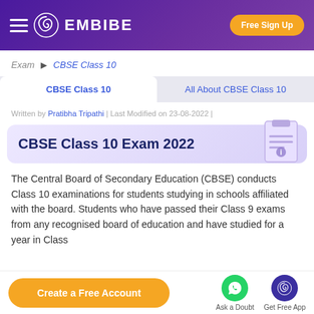EMBIBE — Free Sign Up
Exam > CBSE Class 10
CBSE Class 10 | All About CBSE Class 10
Written by Pratibha Tripathi | Last Modified on 23-08-2022 |
CBSE Class 10 Exam 2022
The Central Board of Secondary Education (CBSE) conducts Class 10 examinations for students studying in schools affiliated with the board. Students who have passed their Class 9 exams from any recognised board of education and have studied for a year in Class
Create a Free Account | Ask a Doubt | Get Free App